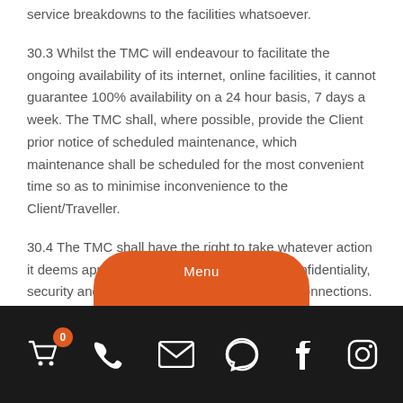service breakdowns to the facilities whatsoever.
30.3 Whilst the TMC will endeavour to facilitate the ongoing availability of its internet, online facilities, it cannot guarantee 100% availability on a 24 hour basis, 7 days a week. The TMC shall, where possible, provide the Client prior notice of scheduled maintenance, which maintenance shall be scheduled for the most convenient time so as to minimise inconvenience to the Client/Traveller.
30.4 The TMC shall have the right to take whatever action it deems appropriate in order to protect the confidentiality, security and integrity of the online or internet connections. Where the TMC provides the Client with personal access codes to enable the Client to use the online facilities, it